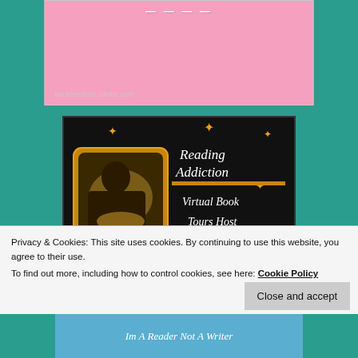[Figure (illustration): Pink banner/logo area with URL 'bookfessions.tumblr.com' at the bottom in light grey. White decorative text at top partially cut off.]
[Figure (logo): Reading Addiction Virtual Book Tours Host badge - black background with gold/orange stars, white cursive text reading 'Reading Addiction Virtual Book Tours Host', and a photo of a girl reading a book by candlelight in a golden frame on the left.]
Privacy & Cookies: This site uses cookies. By continuing to use this website, you agree to their use.
To find out more, including how to control cookies, see here: Cookie Policy
[Figure (illustration): Bottom partial image showing blue background with white italic text beginning 'Im A Reader Not A Writer']